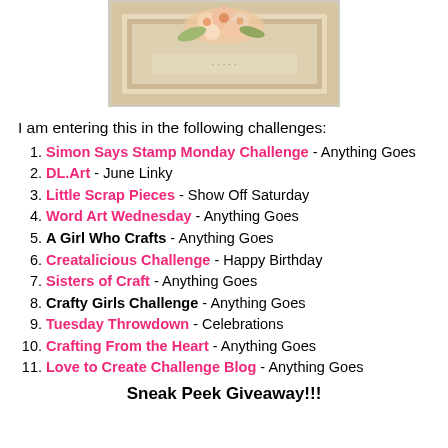[Figure (photo): Photo of a handmade card or craft project with floral decorations on a textured background]
I am entering this in the following challenges:
1. Simon Says Stamp Monday Challenge - Anything Goes
2. DL.Art - June Linky
3. Little Scrap Pieces - Show Off Saturday
4. Word Art Wednesday - Anything Goes
5. A Girl Who Crafts - Anything Goes
6. Creatalicious Challenge - Happy Birthday
7. Sisters of Craft - Anything Goes
8. Crafty Girls Challenge - Anything Goes
9. Tuesday Throwdown - Celebrations
10. Crafting From the Heart - Anything Goes
11. Love to Create Challenge Blog - Anything Goes
Sneak Peek Giveaway!!!